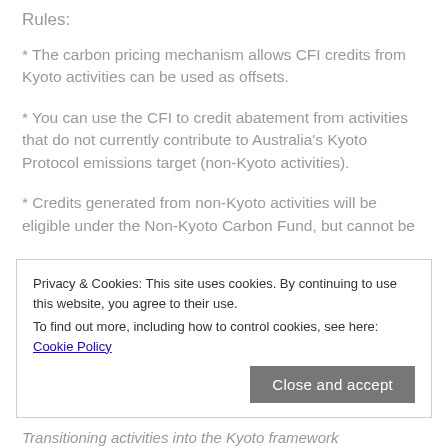Rules:
* The carbon pricing mechanism allows CFI credits from Kyoto activities can be used as offsets.
* You can use the CFI to credit abatement from activities that do not currently contribute to Australia's Kyoto Protocol emissions target (non-Kyoto activities).
* Credits generated from non-Kyoto activities will be eligible under the Non-Kyoto Carbon Fund, but cannot be
Privacy & Cookies: This site uses cookies. By continuing to use this website, you agree to their use. To find out more, including how to control cookies, see here: Cookie Policy
Close and accept
Transitioning activities into the Kyoto framework